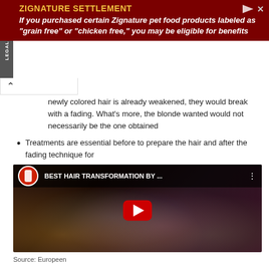[Figure (screenshot): Advertisement banner for Zignature Settlement legal notice with dark red background. Title in yellow: 'ZIGNATURE SETTLEMENT'. Body text in white italic: 'If you purchased certain Zignature pet food products labeled as "grain free" or "chicken free," you may be eligible for benefits'. 'LEGAL NOTICE' label in vertical text on left side.]
newly colored hair is already weakened, they would break with a fading. What's more, the blonde wanted would not necessarily be the one obtained
Treatments are essential before to prepare the hair and after the fading technique for
[Figure (screenshot): YouTube video thumbnail showing a person with colorful rainbow-dyed hair. Video title bar at top reads 'BEST HAIR TRANSFORMATION BY ...' with a YouTube play button overlay in the center. Channel icon shows a logo in red circle.]
Source: Europeen